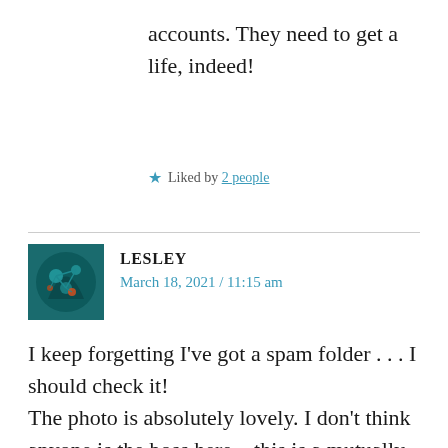accounts. They need to get a life, indeed!
★ Liked by 2 people
LESLEY
March 18, 2021 / 11:15 am
I keep forgetting I've got a spam folder . . . I should check it!
The photo is absolutely lovely. I don't think anyone is the boss here – this is a mutually